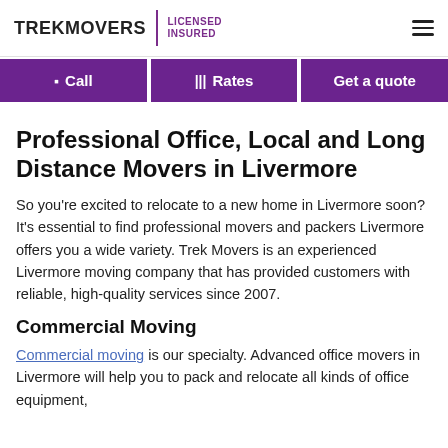TREKMOVERS | LICENSED INSURED
Professional Office, Local and Long Distance Movers in Livermore
So you're excited to relocate to a new home in Livermore soon? It's essential to find professional movers and packers Livermore offers you a wide variety. Trek Movers is an experienced Livermore moving company that has provided customers with reliable, high-quality services since 2007.
Commercial Moving
Commercial moving is our specialty. Advanced office movers in Livermore will help you to pack and relocate all kinds of office equipment,